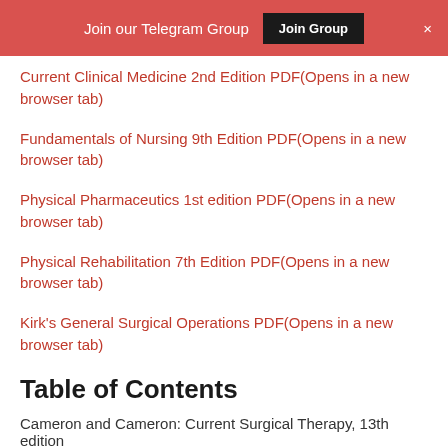Join our Telegram Group | Join Group | ×
Current Clinical Medicine 2nd Edition PDF(Opens in a new browser tab)
Fundamentals of Nursing 9th Edition PDF(Opens in a new browser tab)
Physical Pharmaceutics 1st edition PDF(Opens in a new browser tab)
Physical Rehabilitation 7th Edition PDF(Opens in a new browser tab)
Kirk's General Surgical Operations PDF(Opens in a new browser tab)
Table of Contents
Cameron and Cameron: Current Surgical Therapy, 13th edition